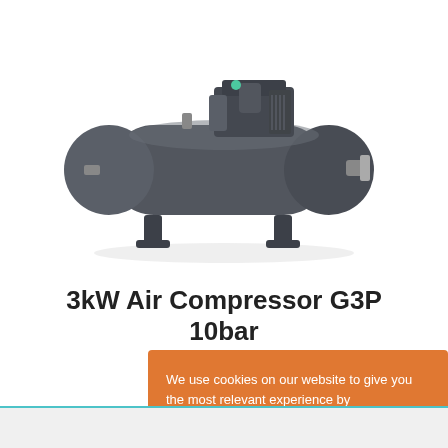[Figure (photo): Photo of a 3kW Air Compressor G3P 10bar — a horizontal tank-mounted air compressor unit in dark grey/slate color, with motor and compressor head mounted on top, yellow/green valve indicator, and metal support legs.]
3kW Air Compressor G3P 10bar
We use cookies on our website to give you the most relevant experience by remembering your preferences and repeat visits. You can view our cookie policy here. By clicking “Accept”, you consent to the use of ALL the cookies.